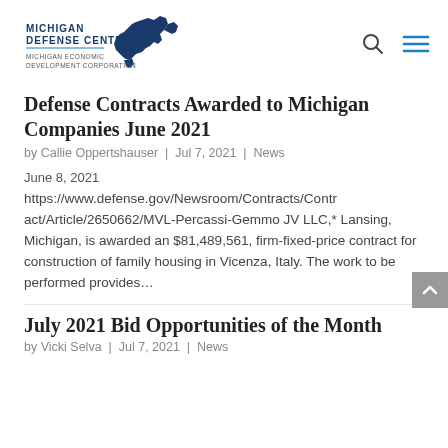Michigan Defense Center — Michigan Economic Development Corporation
Defense Contracts Awarded to Michigan Companies June 2021
by Callie Oppertshauser | Jul 7, 2021 | News
June 8, 2021
https://www.defense.gov/Newsroom/Contracts/Contract/Article/2650662/MVL-Percassi-Gemmo JV LLC,* Lansing, Michigan, is awarded an $81,489,561, firm-fixed-price contract for construction of family housing in Vicenza, Italy. The work to be performed provides...
July 2021 Bid Opportunities of the Month
by Vicki Selva | Jul 7, 2021 | News